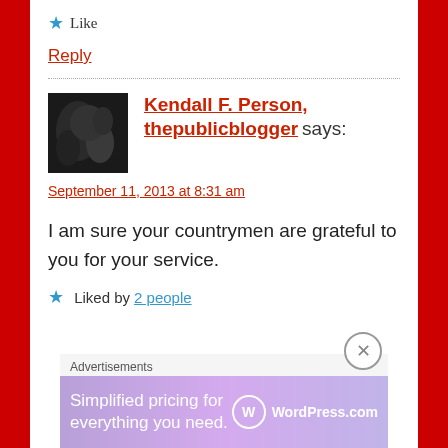★ Like
Reply
Kendall F. Person, thepublicblogger says:
September 11, 2013 at 8:31 am
I am sure your countrymen are grateful to you for your service.
★ Liked by 2 people
Advertisements
[Figure (other): WordPress.com advertisement banner: Simplified pricing for everything you need.]